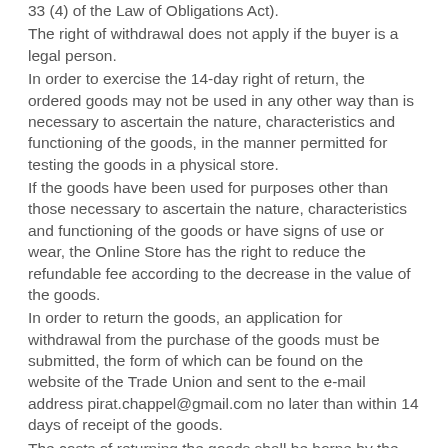33 (4) of the Law of Obligations Act).
The right of withdrawal does not apply if the buyer is a legal person.
In order to exercise the 14-day right of return, the ordered goods may not be used in any other way than is necessary to ascertain the nature, characteristics and functioning of the goods, in the manner permitted for testing the goods in a physical store.
If the goods have been used for purposes other than those necessary to ascertain the nature, characteristics and functioning of the goods or have signs of use or wear, the Online Store has the right to reduce the refundable fee according to the decrease in the value of the goods.
In order to return the goods, an application for withdrawal from the purchase of the goods must be submitted, the form of which can be found on the website of the Trade Union and sent to the e-mail address pirat.chappel@gmail.com no later than within 14 days of receipt of the goods.
The costs of returning the goods shall be borne by the buyer, unless the reason for the return is the fact that the item to be returned does not correspond to what was ordered (eg a wrong or defective item).
The buyer must return the goods within 14 days of submitting the application or provide proof that he has handed over the